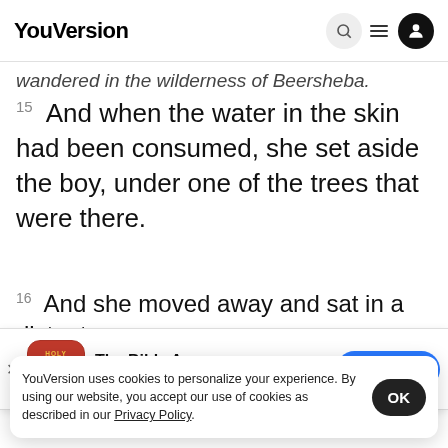YouVersion
wandered in the wilderness of Beersheba.
15 And when the water in the skin had been consumed, she set aside the boy, under one of the trees that were there.
16 And she moved away and sat in a distant
[Figure (screenshot): App download banner for The Bible App showing HOLY BIBLE icon, 5 star rating 7.9M reviews, and Download button]
...see the boy also. And so, sitting opp...
her, he
17 B
YouVersion uses cookies to personalize your experience. By using our website, you accept our use of cookies as described in our Privacy Policy.
Home  Bible  Plans  Videos